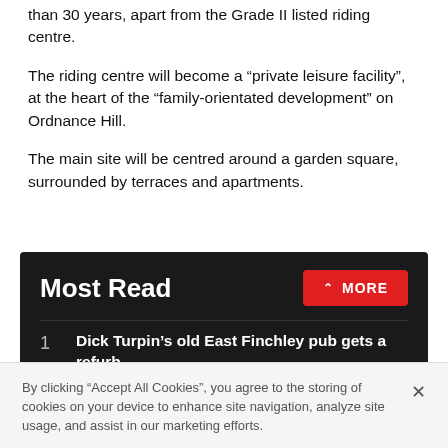than 30 years, apart from the Grade II listed riding centre.
The riding centre will become a “private leisure facility”, at the heart of the “family-orientated development” on Ordnance Hill.
The main site will be centred around a garden square, surrounded by terraces and apartments.
Most Read
1  Dick Turpin’s old East Finchley pub gets a refurb
2  Back to Hogwarts: Kings Cross station hosts Harry Potter fans for annual celebration
By clicking “Accept All Cookies”, you agree to the storing of cookies on your device to enhance site navigation, analyze site usage, and assist in our marketing efforts.